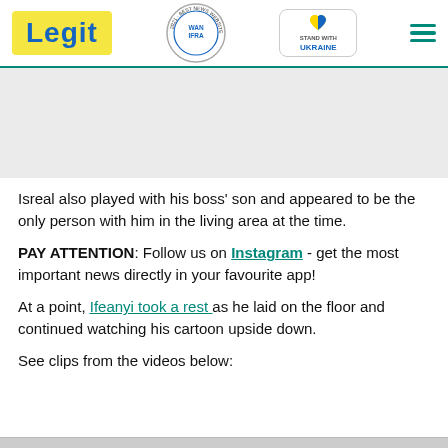Legit | WAN IFRA 2021 Best News Website in Africa | Stand with Ukraine
[Figure (other): Gray banner/advertisement placeholder area]
Isreal also played with his boss' son and appeared to be the only person with him in the living area at the time.
PAY ATTENTION: Follow us on Instagram - get the most important news directly in your favourite app!
At a point, Ifeanyi took a rest as he laid on the floor and continued watching his cartoon upside down.
See clips from the videos below: